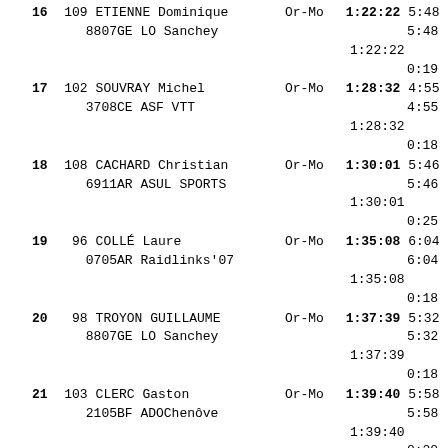| Rank | Bib | Name/Club | Cat | Time | Split |
| --- | --- | --- | --- | --- | --- |
| 16 | 109 | ETIENNE Dominique / 8807GE LO Sanchey | Or-Mo | 1:22:22 | 5:48/5:48/1:22:22/0:1x |
| 17 | 102 | SOUVRAY Michel / 3708CE ASF VTT | Or-Mo | 1:28:32 | 4:55/4:55/1:28:32/0:1x |
| 18 | 108 | CACHARD Christian / 6911AR ASUL SPORTS | Or-Mo | 1:30:01 | 5:46/5:46/1:30:01/0:25 |
| 19 | 96 | COLLÉ Laure / 0705AR Raidlinks'07 | Or-Mo | 1:35:08 | 6:04/6:04/1:35:08/0:1x |
| 20 | 98 | TROYON GUILLAUME / 8807GE LO Sanchey | Or-Mo | 1:37:39 | 5:32/5:32/1:37:39/0:1x |
| 21 | 103 | CLERC Gaston / 2105BF ADOChenôve | Or-Mo | 1:39:40 | 5:58/5:58/1:39:40/0:20 |
| 22 | 114 | ROSA Antonio / 10003IT CN Alvito I | Or-Mo | 1:45:29 | 5:50/5:50/1:45:29/0:1x |
| 23 | 92 | BRUN Matthieu / 8405PZ CS PERTUIS | Or-Mo | 1:46:01 | 8:07/8:07 |